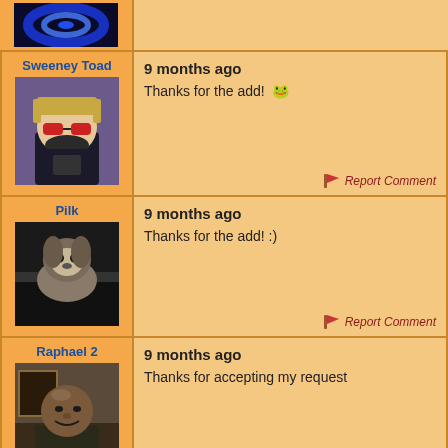[Figure (screenshot): Top partial comment row showing a profile avatar with blue glow effect, cropped at the top]
Sweeney Toad
[Figure (photo): Profile photo of an Animal Crossing character wearing a viking helmet and red sunglasses]
9 months ago
Thanks for the add! 🐸
Report Comment
Pilk
[Figure (photo): Photo of a small marmoset monkey sitting on a laptop]
9 months ago
Thanks for the add! :)
Report Comment
Raphael 2
[Figure (photo): Photo of a bald Black man smiling, wearing a dark jacket]
9 months ago
Thanks for accepting my request
Report Comment